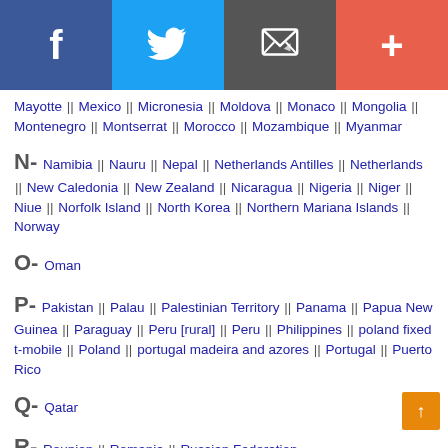[Figure (infographic): Social sharing bar with Facebook (blue), Twitter (light blue), Email (dark gray), and Plus/More (coral red) buttons]
Mayotte || Mexico || Micronesia || Moldova || Monaco || Mongolia || Montenegro || Montserrat || Morocco || Mozambique || Myanmar
N- Namibia || Nauru || Nepal || Netherlands Antilles || Netherlands || New Caledonia || New Zealand || Nicaragua || Nigeria || Niger || Niue || Norfolk Island || North Korea || Northern Mariana Islands || Norway
O- Oman
P- Pakistan || Palau || Palestinian Territory || Panama || Papua New Guinea || Paraguay || Peru [rural] || Peru || Philippines || poland fixed t-mobile || Poland || portugal madeira and azores || Portugal || Puerto Rico
Q- Qatar
R- Reunion || Romania || Russian Federation